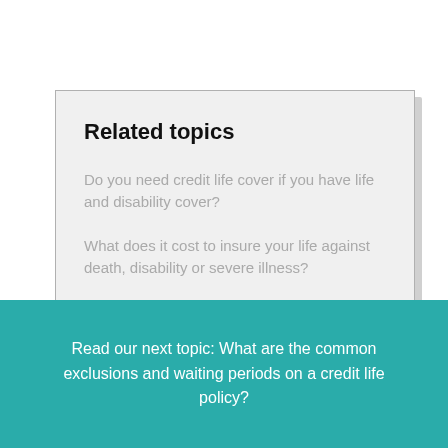Related topics
Do you need credit life cover if you have life and disability cover?
What does it cost to insure your life against death, disability or severe illness?
Read our next topic: What are the common exclusions and waiting periods on a credit life policy?